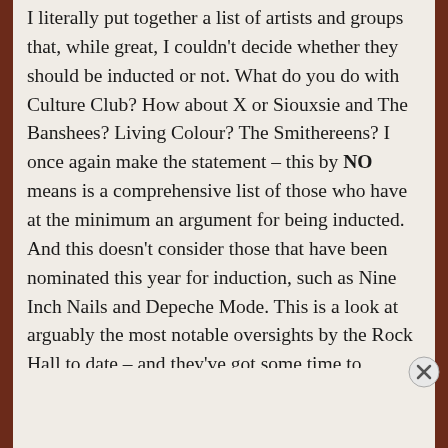I literally put together a list of artists and groups that, while great, I couldn't decide whether they should be inducted or not. What do you do with Culture Club? How about X or Siouxsie and The Banshees? Living Colour? The Smithereens? I once again make the statement – this by NO means is a comprehensive list of those who have at the minimum an argument for being inducted. And this doesn't consider those that have been nominated this year for induction, such as Nine Inch Nails and Depeche Mode. This is a look at arguably the most notable oversights by the Rock Hall to date – and they've got some time to change it, but not much.
Advertisements
[Figure (other): DuckDuckGo advertisement banner: orange section with text 'Search, browse, and email with more privacy. All in One Free App' and dark section with DuckDuckGo logo and name.]